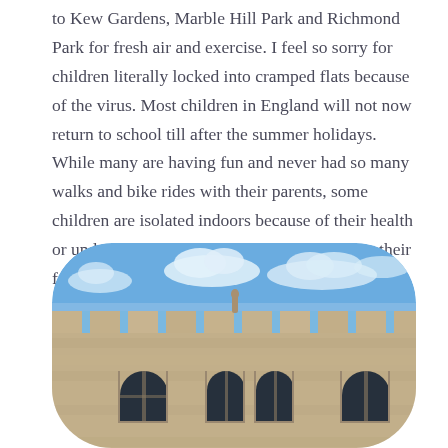to Kew Gardens, Marble Hill Park and Richmond Park for fresh air and exercise. I feel so sorry for children literally locked into cramped flats because of the virus. Most children in England will not now return to school till after the summer holidays. While many are having fun and never had so many walks and bike rides with their parents, some children are isolated indoors because of their health or underlying health conditions of someone in their family.
[Figure (photo): Photograph of a historic stone castle or church building with battlements at the top, Gothic-style arched windows, and a cloudy blue sky in the background. The image is displayed with rounded top corners.]